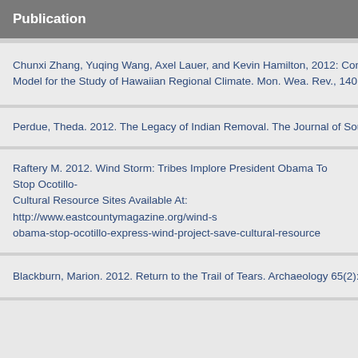Publication
Chunxi Zhang, Yuqing Wang, Axel Lauer, and Kevin Hamilton, 2012: Configuration and Evaluation of a Regional Climate Model for the Study of Hawaiian Regional Climate. Mon. Wea. Rev., 140, 3259–
Perdue, Theda. 2012. The Legacy of Indian Removal. The Journal of Southern H
Raftery M. 2012. Wind Storm: Tribes Implore President Obama To Stop Ocotillo-Express Wind Project Save Cultural Resource Sites Available At: http://www.eastcountymagazine.org/wind-s obama-stop-ocotillo-express-wind-project-save-cultural-resource
Blackburn, Marion. 2012. Return to the Trail of Tears. Archaeology 65(2):53-64.